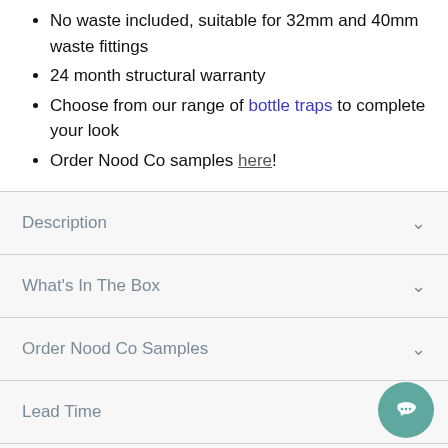No waste included, suitable for 32mm and 40mm waste fittings
24 month structural warranty
Choose from our range of bottle traps to complete your look
Order Nood Co samples here!
Description
What's In The Box
Order Nood Co Samples
Lead Time
Care Instructions